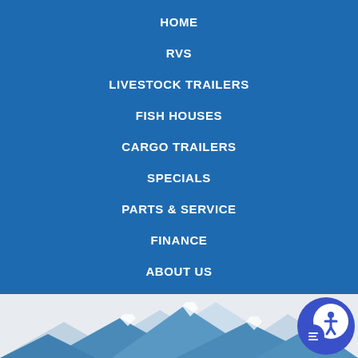HOME
RVS
LIVESTOCK TRAILERS
FISH HOUSES
CARGO TRAILERS
SPECIALS
PARTS & SERVICE
FINANCE
ABOUT US
[Figure (illustration): Mountain range silhouette logo in blue and white tones at the bottom of the page, with an accessibility widget icon (person with circle and text lines) in the bottom right corner]